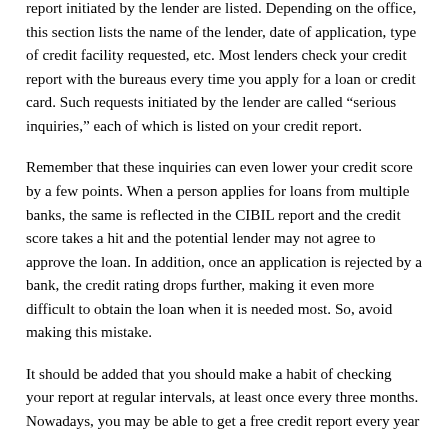report initiated by the lender are listed. Depending on the office, this section lists the name of the lender, date of application, type of credit facility requested, etc. Most lenders check your credit report with the bureaus every time you apply for a loan or credit card. Such requests initiated by the lender are called “serious inquiries,” each of which is listed on your credit report.
Remember that these inquiries can even lower your credit score by a few points. When a person applies for loans from multiple banks, the same is reflected in the CIBIL report and the credit score takes a hit and the potential lender may not agree to approve the loan. In addition, once an application is rejected by a bank, the credit rating drops further, making it even more difficult to obtain the loan when it is needed most. So, avoid making this mistake.
It should be added that you should make a habit of checking your report at regular intervals, at least once every three months. Nowadays, you may be able to get a free credit report every year